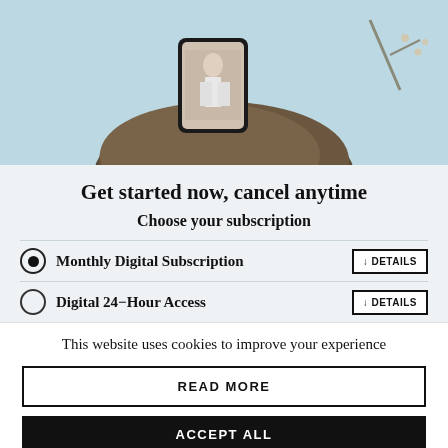[Figure (photo): Hero image: a smartphone on a dark rock against a light blue background, with a person reflected in the phone screen]
Get started now, cancel anytime
Choose your subscription
Monthly Digital Subscription   ↓ DETAILS
Digital 24-Hour Access   ↓ DETAILS
This website uses cookies to improve your experience
READ MORE
ACCEPT ALL
Settings